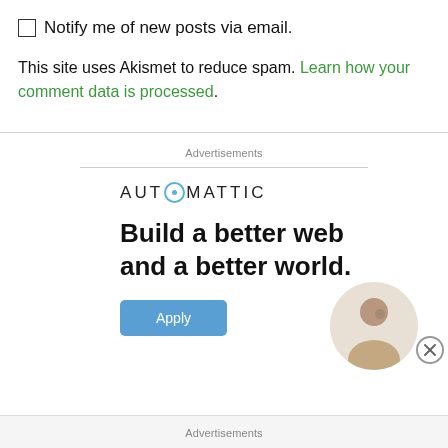Notify me of new posts via email.
This site uses Akismet to reduce spam. Learn how your comment data is processed.
Advertisements
[Figure (logo): Automattic logo with stylized O containing a blue circle]
Build a better web and a better world.
[Figure (photo): Apply button and circular photo of a person thinking]
Advertisements